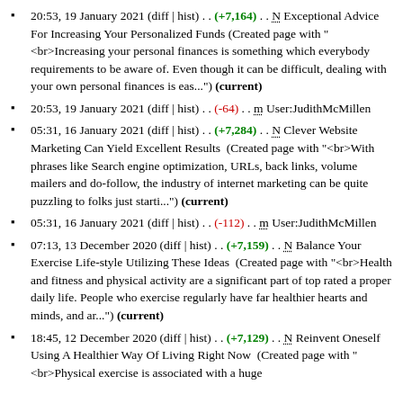20:53, 19 January 2021 (diff | hist) . . (+7,164) . . N Exceptional Advice For Increasing Your Personalized Funds (Created page with "<br>Increasing your personal finances is something which everybody requirements to be aware of. Even though it can be difficult, dealing with your own personal finances is eas...") (current)
20:53, 19 January 2021 (diff | hist) . . (-64) . . m User:JudithMcMillen
05:31, 16 January 2021 (diff | hist) . . (+7,284) . . N Clever Website Marketing Can Yield Excellent Results (Created page with "<br>With phrases like Search engine optimization, URLs, back links, volume mailers and do-follow, the industry of internet marketing can be quite puzzling to folks just starti...") (current)
05:31, 16 January 2021 (diff | hist) . . (-112) . . m User:JudithMcMillen
07:13, 13 December 2020 (diff | hist) . . (+7,159) . . N Balance Your Exercise Life-style Utilizing These Ideas (Created page with "<br>Health and fitness and physical activity are a significant part of top rated a proper daily life. People who exercise regularly have far healthier hearts and minds, and ar...") (current)
18:45, 12 December 2020 (diff | hist) . . (+7,129) . . N Reinvent Oneself Using A Healthier Way Of Living Right Now (Created page with "<br>Physical exercise is associated with a huge